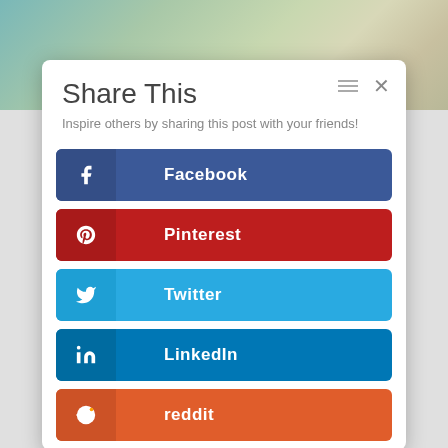[Figure (screenshot): Background image showing painted canvas texture with blue-green and beige tones at the top]
Share This
Inspire others by sharing this post with your friends!
Facebook
Pinterest
Twitter
LinkedIn
reddit
...